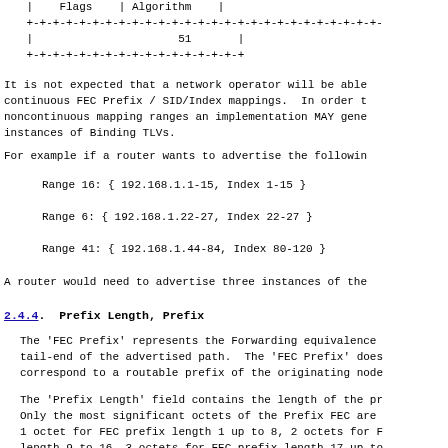|    Flags    | Algorithm    |
+-+-+-+-+-+-+-+-+-+-+-+-+-+-+-+-+-+-+-+-+-+-+-+-+-+-
|                      51       |
+-+-+-+-+-+-+-+-+-+-+-+-+-+-+-+-+
It is not expected that a network operator will be able to have continuous FEC Prefix / SID/Index mappings. In order to support noncontinuous mapping ranges an implementation MAY generate multiple instances of Binding TLVs.
For example if a router wants to advertise the following:
Range 16: { 192.168.1.1-15, Index 1-15 }
Range 6: { 192.168.1.22-27, Index 22-27 }
Range 41: { 192.168.1.44-84, Index 80-120 }
A router would need to advertise three instances of the
2.4.4. Prefix Length, Prefix
The 'FEC Prefix' represents the Forwarding equivalence tail-end of the advertised path. The 'FEC Prefix' does correspond to a routable prefix of the originating node.
The 'Prefix Length' field contains the length of the pr Only the most significant octets of the Prefix FEC are 1 octet for FEC prefix length 1 up to 8, 2 octets for F length 9 to 16, 3 octets for FEC prefix length 17 up to